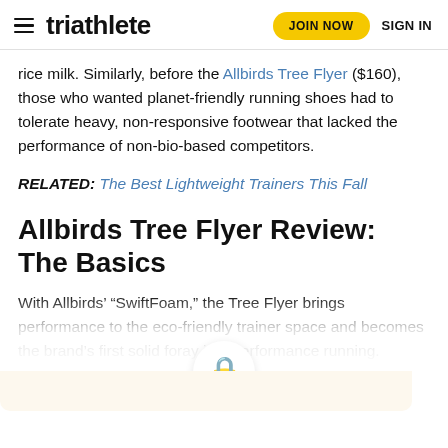triathlete | JOIN NOW | SIGN IN
rice milk. Similarly, before the Allbirds Tree Flyer ($160), those who wanted planet-friendly running shoes had to tolerate heavy, non-responsive footwear that lacked the performance of non-bio-based competitors.
RELATED: The Best Lightweight Trainers This Fall
Allbirds Tree Flyer Review: The Basics
With Allbirds' “SwiftFoam,” the Tree Flyer brings performance to the eco-friendly trainer space and becomes the brand’s first solid foray into performance running. Carved into a geometric, eco...